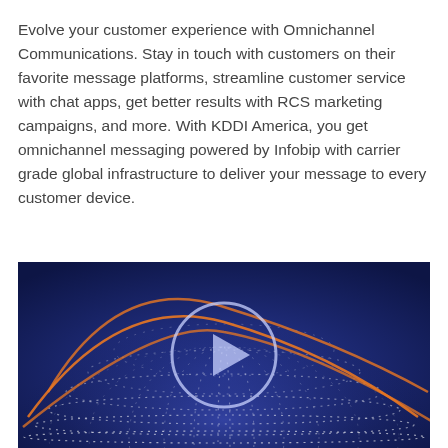Evolve your customer experience with Omnichannel Communications. Stay in touch with customers on their favorite message platforms, streamline customer service with chat apps, get better results with RCS marketing campaigns, and more. With KDDI America, you get omnichannel messaging powered by Infobip with carrier grade global infrastructure to deliver your message to every customer device.
[Figure (other): Video thumbnail showing a dark blue background with orange globe arcs and white dotted light patterns forming a spherical grid, with a large circular play button overlay in the center]